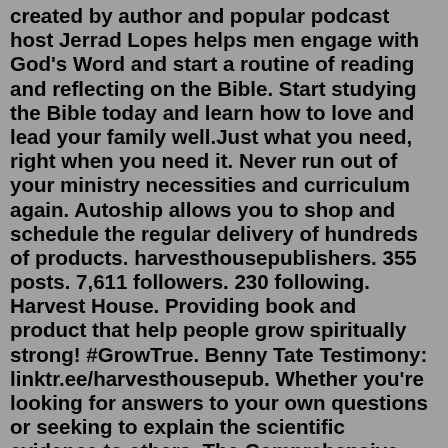created by author and popular podcast host Jerrad Lopes helps men engage with God's Word and start a routine of reading and reflecting on the Bible. Start studying the Bible today and learn how to love and lead your family well.Just what you need, right when you need it. Never run out of your ministry necessities and curriculum again. Autoship allows you to shop and schedule the regular delivery of hundreds of products. harvesthousepublishers. 355 posts. 7,611 followers. 230 following. Harvest House. Providing book and product that help people grow spiritually strong! #GrowTrue. Benny Tate Testimony: linktr.ee/harvesthousepub. Whether you're looking for answers to your own questions or seeking to explain the scientific evidence to others, The Comprehensive Guide to Science and Faith is an invaluable apologetic tool that will help you analyze scientific findings in light of the truths found in the Bible. Harvest House Publishers Articles. This Is What Cursing Really Involves and How It Affects You. Cursing isn't just about bad language. When you